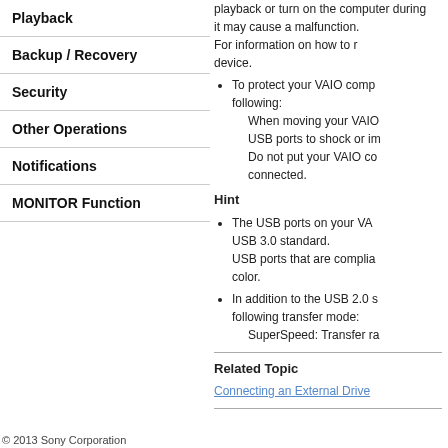Playback
Backup / Recovery
Security
Other Operations
Notifications
MONITOR Function
playback or turn on the computer during it may cause a malfunction. For information on how to remove the device.
To protect your VAIO comp following: When moving your VAIO USB ports to shock or im Do not put your VAIO co connected.
Hint
The USB ports on your VA USB 3.0 standard. USB ports that are complia color.
In addition to the USB 2.0 s following transfer mode: SuperSpeed: Transfer ra
Related Topic
Connecting an External Drive
© 2013 Sony Corporation